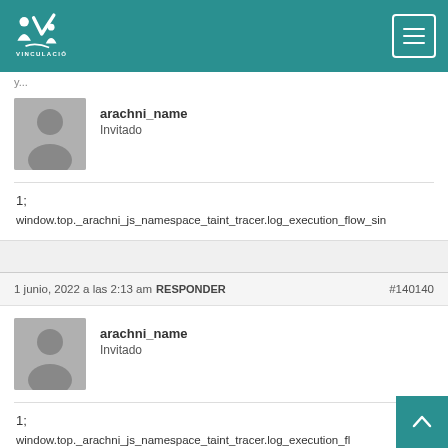VINCULATION - UdB
arachni_name
Invitado
1;
window.top._arachni_js_namespace_taint_tracer.log_execution_flow_sin
1 junio, 2022 a las 2:13 am RESPONDER #140140
arachni_name
Invitado
1;
window.top._arachni_js_namespace_taint_tracer.log_execution_fl